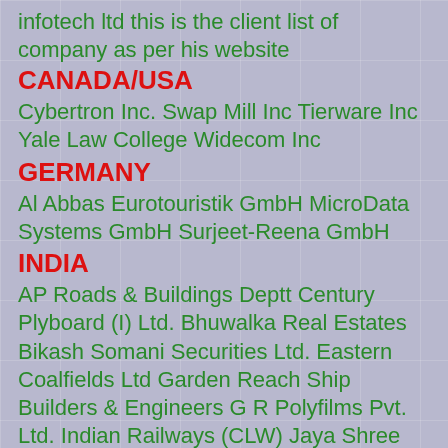infotech ltd this is the client list of company as per his website
CANADA/USA
Cybertron Inc. Swap Mill Inc Tierware Inc Yale Law College Widecom Inc
GERMANY
Al Abbas Eurotouristik GmbH MicroData Systems GmbH Surjeet-Reena GmbH
INDIA
AP Roads & Buildings Deptt Century Plyboard (I) Ltd. Bhuwalka Real Estates Bikash Somani Securities Ltd. Eastern Coalfields Ltd Garden Reach Ship Builders & Engineers G R Polyfilms Pvt. Ltd. Indian Railways (CLW) Jaya Shree Textiles Ltd. Magma Leasing Company (I) Ltd. Mega Coat Pvt. Ltd. Socio Economic Development Program Sunil Polypack Ltd